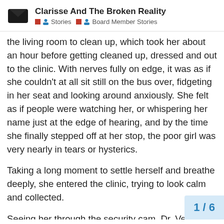Clarisse And The Broken Reality
Stories | Board Member Stories
the living room to clean up, which took her about an hour before getting cleaned up, dressed and out to the clinic. With nerves fully on edge, it was as if she couldn't at all sit still on the bus over, fidgeting in her seat and looking around anxiously. She felt as if people were watching her, or whispering her name just at the edge of hearing, and by the time she finally stepped off at her stop, the poor girl was very nearly in tears or hysterics.
Taking a long moment to settle herself and breathe deeply, she entered the clinic, trying to look calm and collected.
Seeing her through the security cam, Dr. Veronica got a folder and walked out looking purposeful to hand it to her secretary. “10 copies if you could, oh, and good morning Clarisse, please, come in come in, right to my office,” she said warmly.
She was already turning and walking that way without waiting much for a reply.
Clarisse started to wave, then greet the do
1 / 6